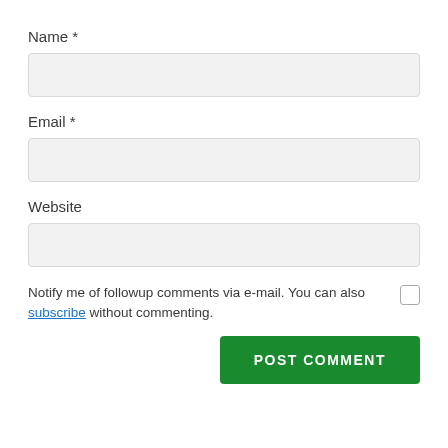Name *
[Figure (other): Text input field for Name (empty, light grey background)]
Email *
[Figure (other): Text input field for Email (empty, light grey background)]
Website
[Figure (other): Text input field for Website (empty, light grey background)]
Notify me of followup comments via e-mail. You can also subscribe without commenting.
POST COMMENT